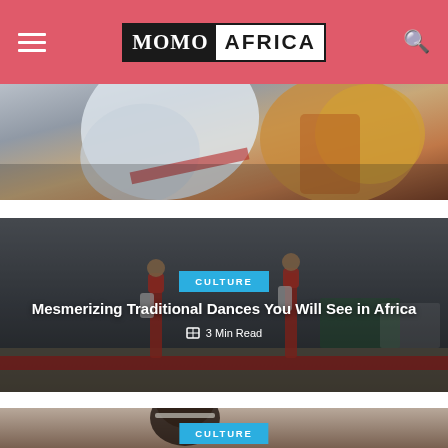MOMO AFRICA
[Figure (photo): Partial view of colorful traditional African clothing/flags, cropped at top]
[Figure (photo): Traditional African stilt dancers performing on a sandy ground with tents in background, overlaid with article title card]
CULTURE
Mesmerizing Traditional Dances You Will See in Africa
3 Min Read
[Figure (photo): Close-up of an African woman with headband looking to the side, with CULTURE tag at bottom]
CULTURE